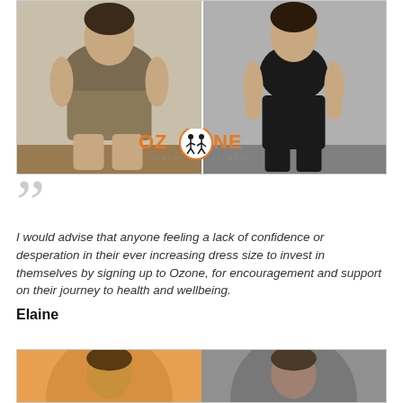[Figure (photo): Before and after fitness transformation photos side by side with Ozone Health & Fitness logo overlay]
I would advise that anyone feeling a lack of confidence or desperation in their ever increasing dress size to invest in themselves by signing up to Ozone, for encouragement and support on their journey to health and wellbeing.
Elaine
[Figure (photo): Two circular framed portrait photos side by side, before and after]